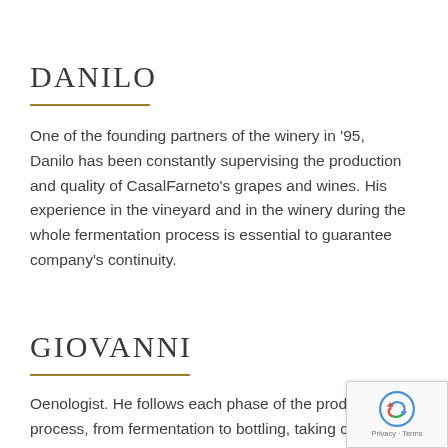DANILO
One of the founding partners of the winery in '95, Danilo has been constantly supervising the production and quality of CasalFarneto's grapes and wines. His experience in the vineyard and in the winery during the whole fermentation process is essential to guarantee company's continuity.
GIOVANNI
Oenologist. He follows each phase of the production process, from fermentation to bottling, taking care of